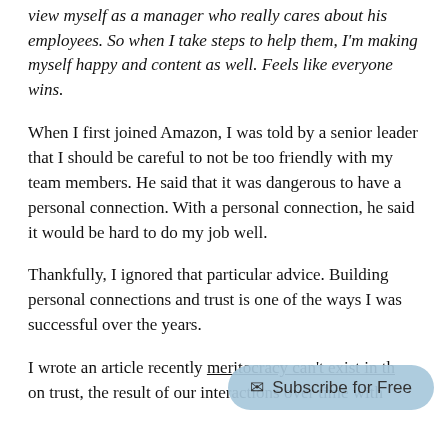view myself as a manager who really cares about his employees. So when I take steps to help them, I'm making myself happy and content as well. Feels like everyone wins.
When I first joined Amazon, I was told by a senior leader that I should be careful to not be too friendly with my team members. He said that it was dangerous to have a personal connection. With a personal connection, he said it would be hard to do my job well.
Thankfully, I ignored that particular advice. Building personal connections and trust is one of the ways I was successful over the years.
I wrote an article recently [meritocracy can't exist in th...] on trust, the result of our interactions over time with